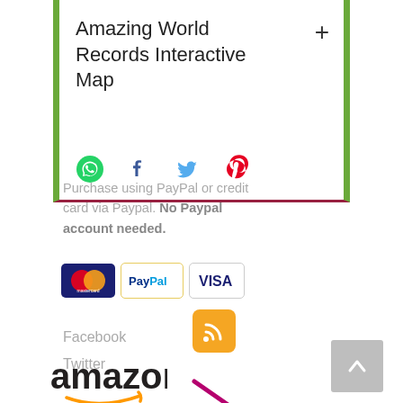[Figure (screenshot): Card widget with green borders showing 'Amazing World Records Interactive Map' title with a plus button and social share icons (WhatsApp, Facebook, Twitter, Pinterest). Below a dark red bottom border.]
Purchase using PayPal or credit card via Paypal. No Paypal account needed.
[Figure (logo): Payment logos: Mastercard, PayPal, Visa]
[Figure (logo): RSS feed orange icon]
Facebook
Twitter
[Figure (other): Grey square button with upward chevron arrow]
[Figure (other): Purple/magenta diagonal arrow pointing bottom-right]
[Figure (logo): Amazon logo with smile arrow]